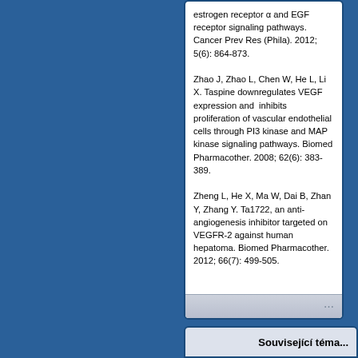estrogen receptor α and EGF receptor signaling pathways. Cancer Prev Res (Phila). 2012; 5(6): 864-873.
Zhao J, Zhao L, Chen W, He L, Li X. Taspine downregulates VEGF expression and  inhibits proliferation of vascular endothelial cells through PI3 kinase and MAP kinase signaling pathways. Biomed Pharmacother. 2008; 62(6): 383-389.
Zheng L, He X, Ma W, Dai B, Zhan Y, Zhang Y. Ta1722, an anti-angiogenesis inhibitor targeted on VEGFR-2 against human hepatoma. Biomed Pharmacother. 2012; 66(7): 499-505.
Související téma...